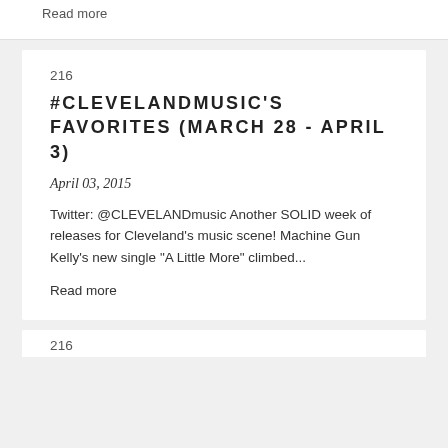Read more
216
#CLEVELANDMUSIC'S FAVORITES (MARCH 28 - APRIL 3)
April 03, 2015
Twitter: @CLEVELANDmusic Another SOLID week of releases for Cleveland's music scene! Machine Gun Kelly's new single "A Little More" climbed...
Read more
216